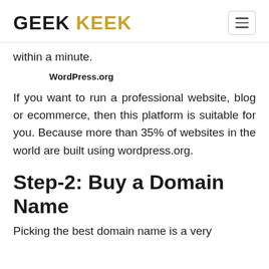GEEK KEEK
within a minute.
WordPress.org
If you want to run a professional website, blog or ecommerce, then this platform is suitable for you. Because more than 35% of websites in the world are built using wordpress.org.
Step-2: Buy a Domain Name
Picking the best domain name is a very